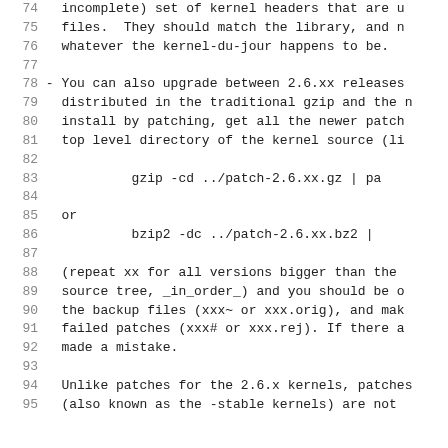Lines 74-95 of a kernel documentation/README file showing numbered source lines with text about kernel headers, patching between 2.6.xx releases, and patch commands.